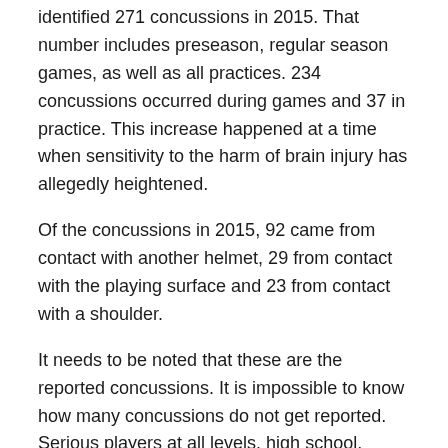identified 271 concussions in 2015. That number includes preseason, regular season games, as well as all practices. 234 concussions occurred during games and 37 in practice. This increase happened at a time when sensitivity to the harm of brain injury has allegedly heightened.
Of the concussions in 2015, 92 came from contact with another helmet, 29 from contact with the playing surface and 23 from contact with a shoulder.
It needs to be noted that these are the reported concussions. It is impossible to know how many concussions do not get reported. Serious players at all levels, high school, college and pro, want playing time and reporting concussions is a good way to be benched.